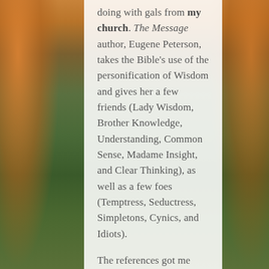doing with gals from my church. The Message author, Eugene Peterson, takes the Bible's use of the personification of Wisdom and gives her a few friends (Lady Wisdom, Brother Knowledge, Understanding, Common Sense, Madame Insight, and Clear Thinking), as well as a few foes (Temptress, Seductress, Simpletons, Cynics, and Idiots).

The references got me wondering if allegory was the proper term for these examples, which in turn was fodder for this week's match up for Which Word Wednesday. Get the answer on the